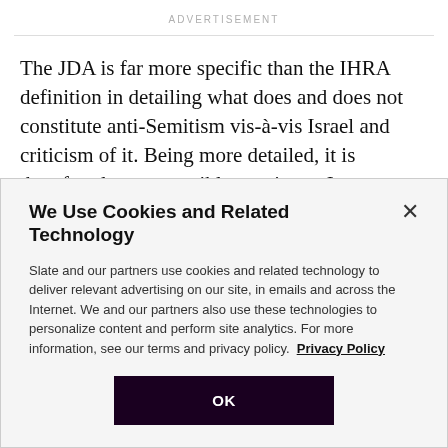ADVERTISEMENT
The JDA is far more specific than the IHRA definition in detailing what does and does not constitute anti-Semitism vis-à-vis Israel and criticism of it. Being more detailed, it is therefore less susceptible to misuse. It overcomes IHRA's ambiguity by offering specific
We Use Cookies and Related Technology
Slate and our partners use cookies and related technology to deliver relevant advertising on our site, in emails and across the Internet. We and our partners also use these technologies to personalize content and perform site analytics. For more information, see our terms and privacy policy.  Privacy Policy
OK